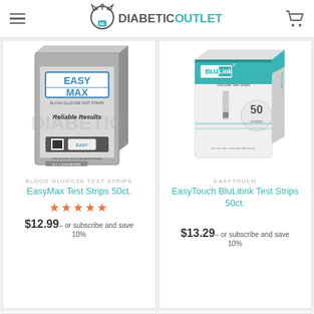Diabetic Outlet
[Figure (photo): EasyMax Blood Glucose Test Strips 50ct. box - gray box with EASY MAX branding and 'Reliable Results' text]
BLOOD GLUCOSE TEST STRIPS
EasyMax Test Strips 50ct.
★★★★★
$12.99 – or subscribe and save 10%
[Figure (photo): EasyTouch BluLibnk Glucose Test Strips 50ct. box - white and teal box]
EASYTOUCH
EasyTouch BluLibnk Test Strips 50ct.
$13.29 – or subscribe and save 10%